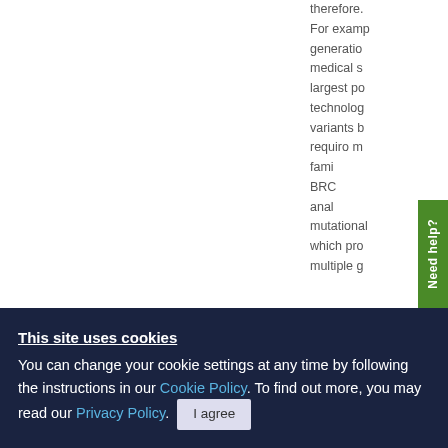therefore. For example, generation medical s largest po technolog variants b requiro m fami BRC anal mutational which pro multiple g
[Figure (other): Green 'Need help?' vertical tab button on right side]
This site uses cookies
You can change your cookie settings at any time by following the instructions in our Cookie Policy. To find out more, you may read our Privacy Policy.